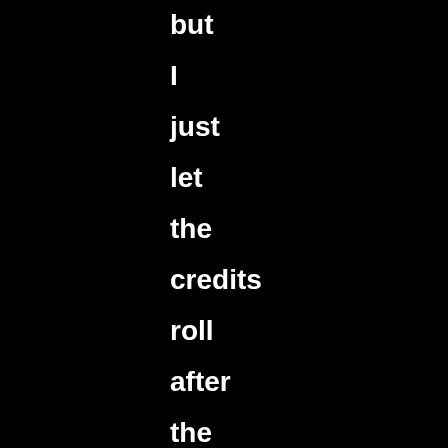but I just let the credits roll after the semi-satisfying ending, and the music was over before they were done. Long